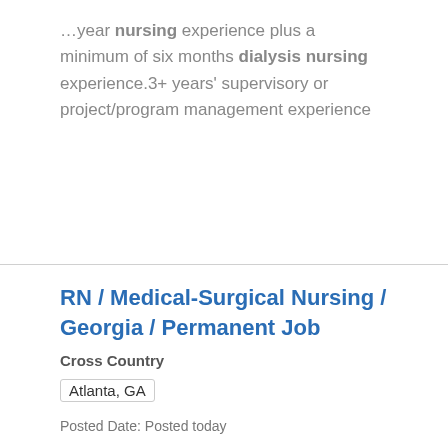…year nursing experience plus a minimum of six months dialysis nursing experience.3+ years' supervisory or project/program management experience
RN / Medical-Surgical Nursing / Georgia / Permanent Job
Cross Country
Atlanta, GA
Posted Date: Posted today
…Telemetry Registered Nurses who are ready to join a team thats redefining quality nursing care. If you have strong Medical Surgical - Med/Surg experience at a health